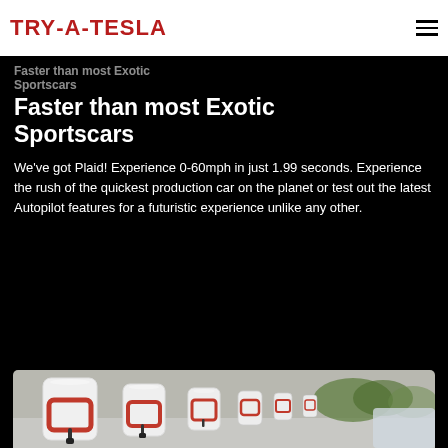TRY-A-TESLA
Faster than most Exotic Sportscars
We've got Plaid! Experience 0-60mph in just 1.99 seconds. Experience the rush of the quickest production car on the planet or test out the latest Autopilot features for a futuristic experience unlike any other.
[Figure (photo): Tesla Supercharger station showing a row of red and white charging connectors in perspective]